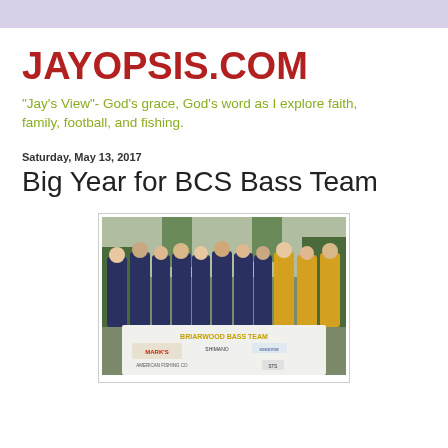JAYOPSIS.COM
"Jay's View"- God's grace, God's word as I explore faith, family, football, and fishing.
Saturday, May 13, 2017
Big Year for BCS Bass Team
[Figure (photo): Group photo of the Briarwood Bass Team holding a banner that reads BRIARWOOD BASS TEAM with sponsor logos including Mark's, Shimano, and others. Team members are wearing matching blue and gold jerseys.]